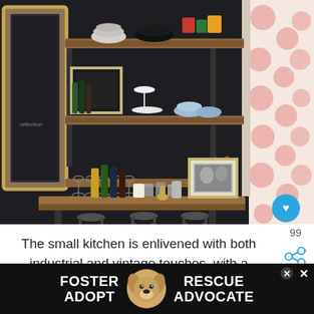[Figure (photo): Interior photo of a small kitchen bar area with dark walls, open wooden shelves holding glassware, bowls, and decorative items, a wooden countertop bar with metal stools, bottles of liquor, a framed photo, an ornate gold-framed mirror on the left wall, and a pink polka dot curtain on the right. A heart/like button (teal circle) is visible in the bottom-right corner of the photo.]
99
The small kitchen is enlivened with both industrial and vintage touches, with a p... above.
[Figure (infographic): Advertisement banner at the bottom: black background with white bold text reading FOSTER RESCUE ADOPT ADVOCATE, a beagle dog photo in the center, and close/X buttons.]